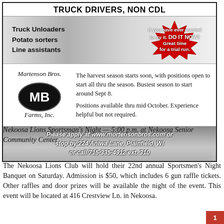TRUCK DRIVERS, NON CDL
Truck Unloaders
Potato sorters
Line assistants
If you have ever wanted to try it. DO IT NOW! Great time for a trial run.
The harvest season starts soon, with positions open to start all thru the season. Busiest season to start around Sept 8.
Positions available thru mid October. Experience helpful but not required.
Please apply at www.mortensonbros.com or stop by 224 Aniwa Lane, Plainfield, WI or call 715-335-4912 ext. 310
Nekoosa Lions Sportsman's Night — 5:00 p.m. at Nekoosa Senior Community Center
The Nekoosa Lions Club will hold their 22nd annual Sportsmen's Night Banquet on Saturday. Admission is $50, which includes 6 gun raffle tickets. Other raffles and door prizes will be available the night of the event. This event will be located at 416 Crestview Ln. in Nekoosa.